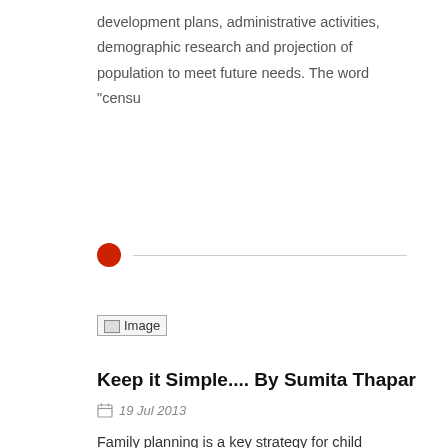development plans, administrative activities, demographic research and projection of population to meet future needs. The word "censu
[Figure (other): Red circle bullet point with horizontal divider line]
[Figure (photo): Image placeholder thumbnail]
Keep it Simple.... By Sumita Thapar
19 Jul 2013
Family planning is a key strategy for child survival, said Michael Stern, USAID India, in Delhi this week. “We look towards India as a development innovation hub,” he added. In Delhi this week, health practitioners,